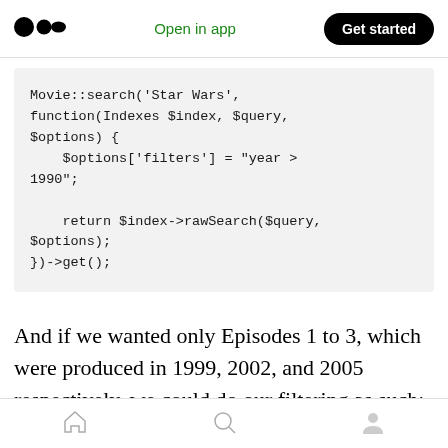Medium logo | Open in app | Get started
Movie::search('Star Wars', function(Indexes $index, $query, $options) {
    $options['filters'] = "year > 1990";

    return $index->rawSearch($query, $options);
})->get();
And if we wanted only Episodes 1 to 3, which were produced in 1999, 2002, and 2005 respectively, we could do our filtering as such:
Home | Search | Profile